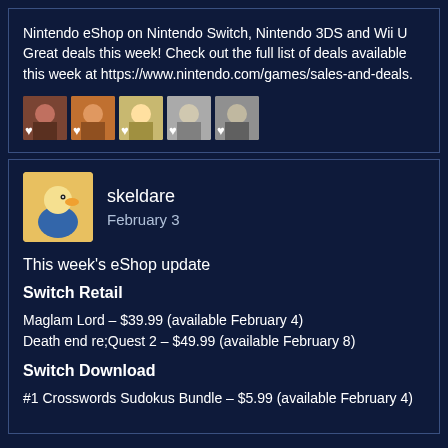Nintendo eShop on Nintendo Switch, Nintendo 3DS and Wii U Great deals this week! Check out the full list of deals available this week at https://www.nintendo.com/games/sales-and-deals.
[Figure (photo): Row of five small user avatar thumbnails with heart icons]
[Figure (photo): User avatar image: cartoon duck character on yellow/orange background]
skeldare
February 3
This week's eShop update
Switch Retail
Maglam Lord – $39.99 (available February 4)
Death end re;Quest 2 – $49.99 (available February 8)
Switch Download
#1 Crosswords Sudokus Bundle – $5.99 (available February 4)